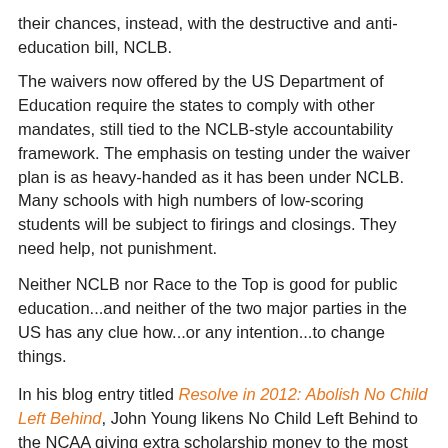their chances, instead, with the destructive and anti-education bill, NCLB.
The waivers now offered by the US Department of Education require the states to comply with other mandates, still tied to the NCLB-style accountability framework. The emphasis on testing under the waiver plan is as heavy-handed as it has been under NCLB. Many schools with high numbers of low-scoring students will be subject to firings and closings. They need help, not punishment.
Neither NCLB nor Race to the Top is good for public education...and neither of the two major parties in the US has any clue how...or any intention...to change things.
In his blog entry titled Resolve in 2012: Abolish No Child Left Behind, John Young likens No Child Left Behind to the NCAA giving extra scholarship money to the most successful athletic programs.
Have you heard of the Capital One Cup?